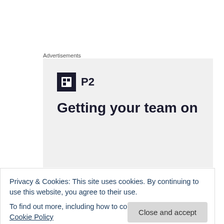Advertisements
[Figure (screenshot): Advertisement banner showing WordPress P2 logo and the text 'Getting your team on']
Pokeweed
ID: Extremely prolific, but only in-season for 3 weeks.
Will come back in the same spot each year, so once
Privacy & Cookies: This site uses cookies. By continuing to use this website, you agree to their use. To find out more, including how to control cookies, see here: Cookie Policy
eat it any longer. Best when it is only one stalk.